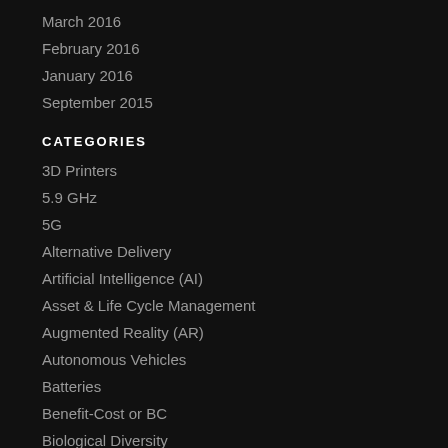March 2016
February 2016
January 2016
September 2015
CATEGORIES
3D Printers
5.9 GHz
5G
Alternative Delivery
Artificial Intelligence (AI)
Asset & Life Cycle Management
Augmented Reality (AR)
Autonomous Vehicles
Batteries
Benefit-Cost or BC
Biological Diversity
Biomimicry
Black Swans
Business Transformation
Clean Energy
Climate
Cloud Services